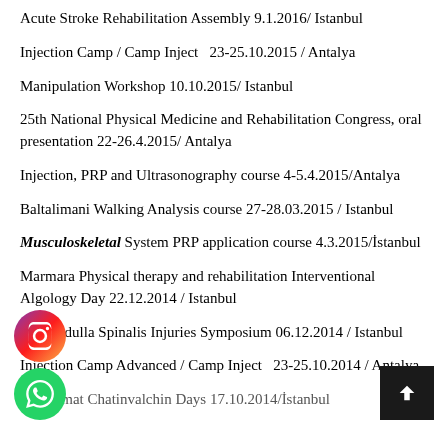Acute Stroke Rehabilitation Assembly 9.1.2016/ Istanbul
Injection Camp / Camp Inject  23-25.10.2015 / Antalya
Manipulation Workshop 10.10.2015/ Istanbul
25th National Physical Medicine and Rehabilitation Congress, oral presentation 22-26.4.2015/ Antalya
Injection, PRP and Ultrasonography course 4-5.4.2015/Antalya
Baltalimani Walking Analysis course 27-28.03.2015 / Istanbul
Musculoskeletal System PRP application course 4.3.2015/İstanbul
Marmara Physical therapy and rehabilitation Interventional Algology Day 22.12.2014 / Istanbul
XII Medulla Spinalis Injuries Symposium 06.12.2014 / Istanbul
Injection Camp Advanced / Camp Inject  23-25.10.2014 / Antalya
XVI İsmat Chatinvalchin Days 17.10.2014/İstanbul